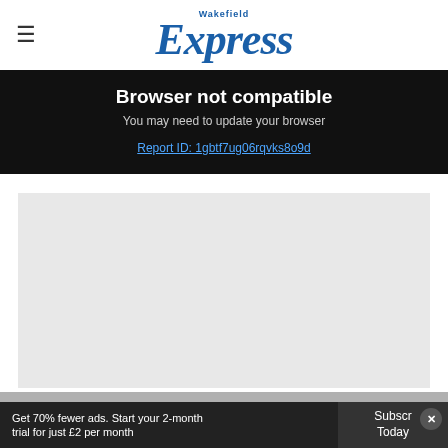Wakefield Express
Browser not compatible
You may need to update your browser
Report ID: 1gbtf7ug06rqvks8o9d
[Figure (photo): Gray placeholder image area for a news article photo]
Professor Sean Duffy, Strategic Clinical Director of the West Yorkshire and Harrogate Cancer
Get 70% fewer ads. Start your 2-month trial for just £2 per month
Subscribe Today